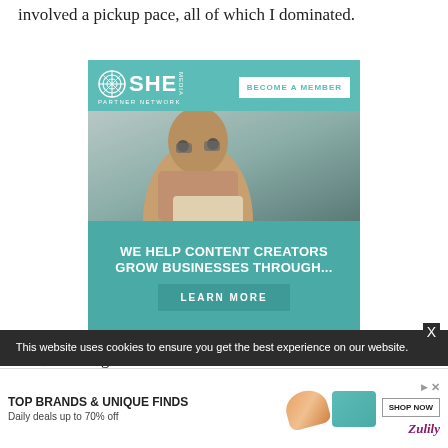involved a pickup pace, all of which I dominated.
[Figure (illustration): SHE Media Partner Network advertisement. Teal background with logo and 'BECOME A MEMBER' button at top, photo of smiling woman with glasses using laptop in middle, text 'WE HELP CONTENT CREATORS GROW BUSINESSES THROUGH...' and 'LEARN MORE' button at bottom.]
Yes, that's right. I ate those hills for breakfast.
This website uses cookies to ensure you get the best experience on our website.
[Figure (illustration): Bottom advertisement for TOP BRANDS & UNIQUE FINDS, Daily deals up to 70% off, with Zulily branding, shoe and bag images, and SHOP NOW button.]